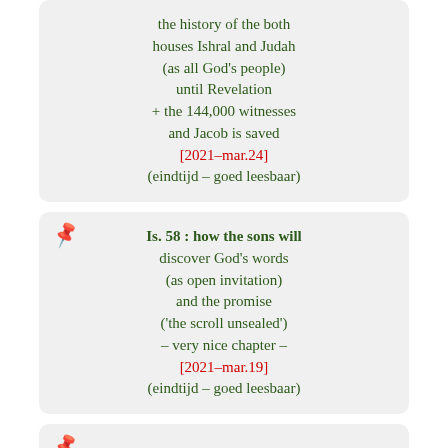the history of the both houses Ishral and Judah (as all God's people) until Revelation + the 144,000 witnesses and Jacob is saved [2021-mar.24] (eindtijd – goed leesbaar)
Is. 58 : how the sons will discover God's words (as open invitation) and the promise ('the scroll unsealed') – very nice chapter – [2021-mar.19] (eindtijd – goed leesbaar)